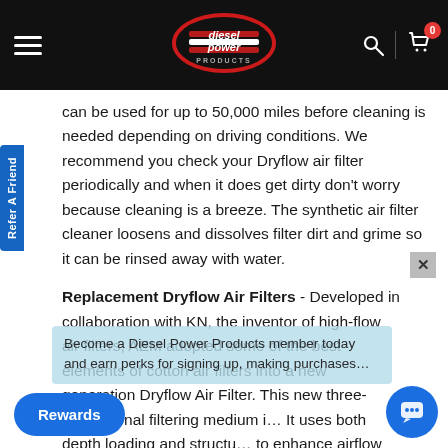Diesel Power Products - navigation header
can be used for up to 50,000 miles before cleaning is needed depending on driving conditions. We recommend you check your Dryflow air filter periodically and when it does get dirty don't worry because cleaning is a breeze. The synthetic air filter cleaner loosens and dissolves filter dirt and grime so it can be rinsed away with water.
Replacement Dryflow Air Filters - Developed in collaboration with KN, the inventor of high-flow air filters, AEM adopted some of the best elements of cotton air filters into a new generation Dryflow Air Filter. This new three-dimensional filtering medium i... It uses both depth loading and structu... to enhance airflow capabilities. AEM uses...
Become a Diesel Power Products member today and earn perks for signing up, making purchases...